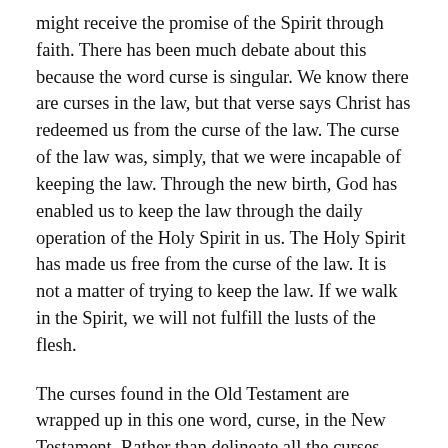might receive the promise of the Spirit through faith. There has been much debate about this because the word curse is singular. We know there are curses in the law, but that verse says Christ has redeemed us from the curse of the law. The curse of the law was, simply, that we were incapable of keeping the law. Through the new birth, God has enabled us to keep the law through the daily operation of the Holy Spirit in us. The Holy Spirit has made us free from the curse of the law. It is not a matter of trying to keep the law. If we walk in the Spirit, we will not fulfill the lusts of the flesh.
The curses found in the Old Testament are wrapped up in this one word, curse, in the New Testament. Rather than delineate all the curses found in the Old Testament under the law, they are simply incorporated into one word. Christ has redeemed us from the curse of the law.